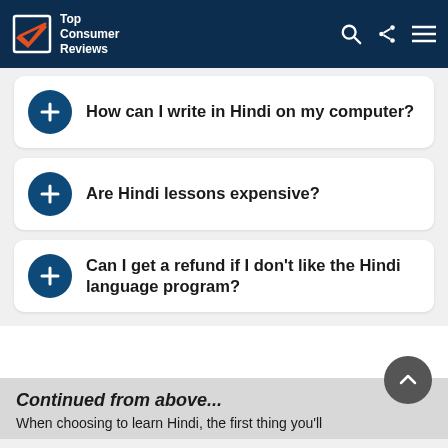Top Consumer Reviews
How can I write in Hindi on my computer?
Are Hindi lessons expensive?
Can I get a refund if I don't like the Hindi language program?
Continued from above...
When choosing to learn Hindi, the first thing you'll